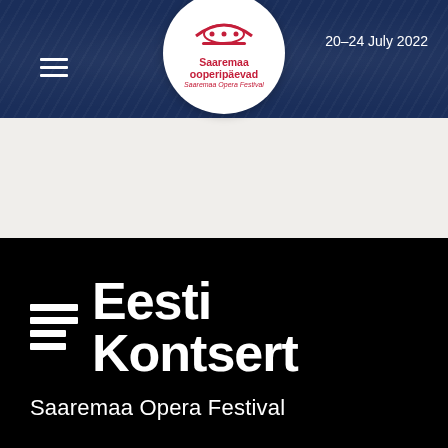[Figure (logo): Saaremaa ooperipäevad / Saaremaa Opera Festival circular logo in red and white, with decorative swoosh at top and three dots]
20–24 July 2022
[Figure (logo): Eesti Kontsert logo in white on black background, with horizontal line marks and text 'Eesti Kontsert']
Saaremaa Opera Festival